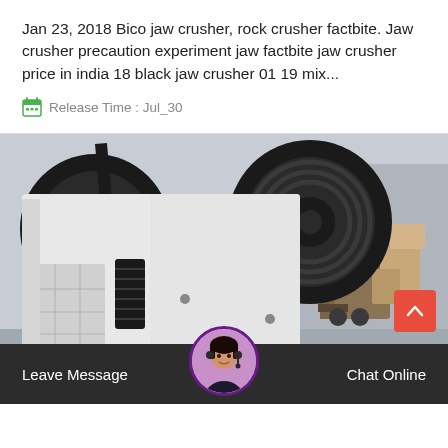Jan 23, 2018 Bico jaw crusher, rock crusher factbite. Jaw crusher precaution experiment jaw factbite jaw crusher price in india 18 black jaw crusher 01 19 mix...
Release Time : Jul_30
[Figure (photo): Photo of a white jaw crusher / rock crushing machine in an industrial warehouse setting, with a forklift visible in the background.]
Leave Message
Chat Online